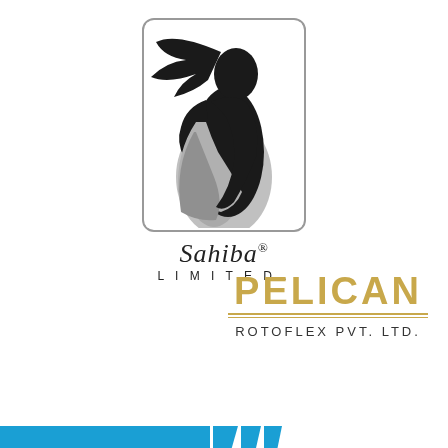[Figure (logo): Sahiba Limited logo: a silhouette of a woman in a saree inside a rounded rectangle border, with 'Sahiba' in italic serif and 'LIMITED.' in spaced caps below]
[Figure (logo): Pelican Rotoflex Pvt. Ltd. logo: 'PELICAN' in large gold bold sans-serif letters with two gold horizontal lines underneath, and 'ROTOFLEX PVT. LTD.' in spaced caps below]
[Figure (other): Partial blue horizontal bar at bottom-left corner of page, with diagonal stripe elements suggesting another logo being cut off]